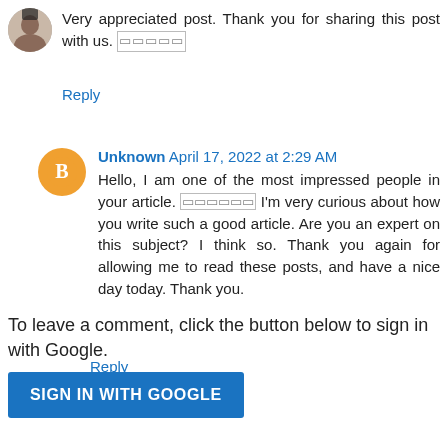[Figure (photo): Small circular avatar photo of a person (woman)]
Very appreciated post. Thank you for sharing this post with us. 🔲🔲🔲🔲🔲
Reply
[Figure (logo): Orange circular avatar with white letter B (Blogger icon)]
Unknown April 17, 2022 at 2:29 AM
Hello, I am one of the most impressed people in your article. 🔲🔲🔲🔲🔲🔲 I'm very curious about how you write such a good article. Are you an expert on this subject? I think so. Thank you again for allowing me to read these posts, and have a nice day today. Thank you.
Reply
To leave a comment, click the button below to sign in with Google.
SIGN IN WITH GOOGLE